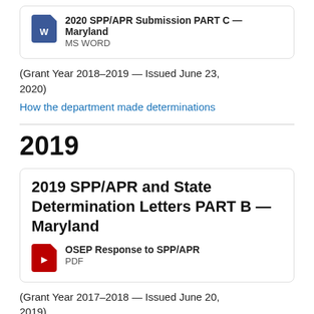2020 SPP/APR Submission PART C — Maryland
MS WORD
(Grant Year 2018–2019 — Issued June 23, 2020)
How the department made determinations
2019
2019 SPP/APR and State Determination Letters PART B — Maryland
OSEP Response to SPP/APR
PDF
(Grant Year 2017–2018 — Issued June 20, 2019)